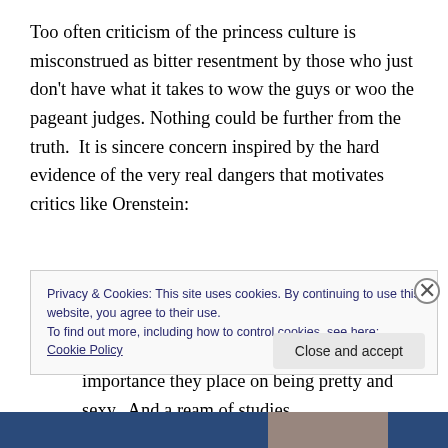Too often criticism of the princess culture is misconstrued as bitter resentment by those who just don't have what it takes to wow the guys or woo the pageant judges. Nothing could be further from the truth.  It is sincere concern inspired by the hard evidence of the very real dangers that motivates critics like Orenstein:
There is… ample evidence that the more mainstream media girls consume, the more importance they place on being pretty and sexy.  And a ream of studies
Privacy & Cookies: This site uses cookies. By continuing to use this website, you agree to their use.
To find out more, including how to control cookies, see here: Cookie Policy
Close and accept